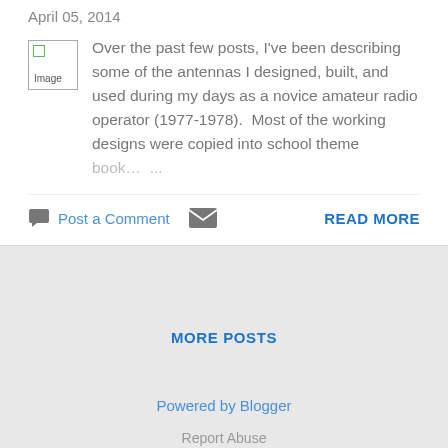April 05, 2014
Over the past few posts, I've been describing some of the antennas I designed, built, and used during my days as a novice amateur radio operator (1977-1978).  Most of the working designs were copied into school theme book…
Post a Comment
READ MORE
MORE POSTS
Powered by Blogger
Report Abuse